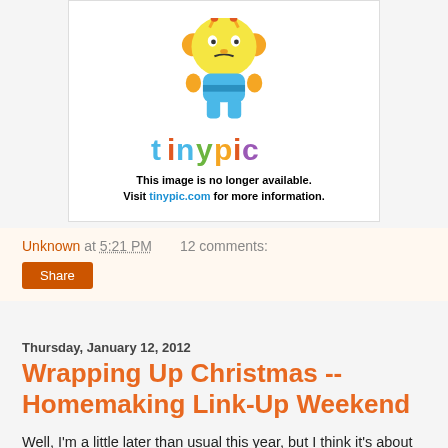[Figure (illustration): Tinypic broken image placeholder showing the Tinypic mascot (yellow cartoon character) and the text 'This image is no longer available. Visit tinypic.com for more information.']
Unknown at 5:21 PM   12 comments:
Share
Thursday, January 12, 2012
Wrapping Up Christmas -- Homemaking Link-Up Weekend
Well, I'm a little later than usual this year, but I think it's about